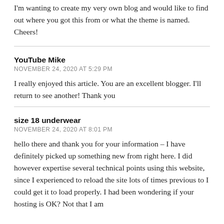I'm wanting to create my very own blog and would like to find out where you got this from or what the theme is named. Cheers!
YouTube Mike
NOVEMBER 24, 2020 AT 5:29 PM
I really enjoyed this article. You are an excellent blogger. I'll return to see another! Thank you
size 18 underwear
NOVEMBER 24, 2020 AT 8:01 PM
hello there and thank you for your information – I have definitely picked up something new from right here. I did however expertise several technical points using this website, since I experienced to reload the site lots of times previous to I could get it to load properly. I had been wondering if your hosting is OK? Not that I am